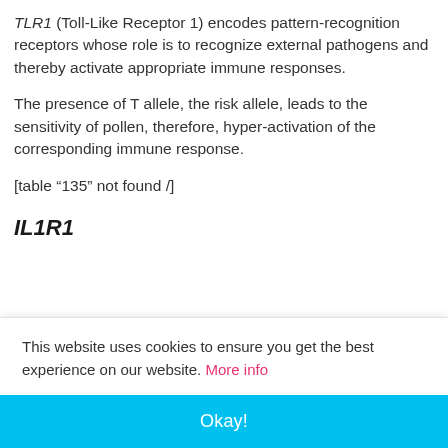TLR1 (Toll-Like Receptor 1) encodes pattern-recognition receptors whose role is to recognize external pathogens and thereby activate appropriate immune responses.
The presence of T allele, the risk allele, leads to the sensitivity of pollen, therefore, hyper-activation of the corresponding immune response.
[table “135” not found /]
IL1R1
This website uses cookies to ensure you get the best experience on our website. More info